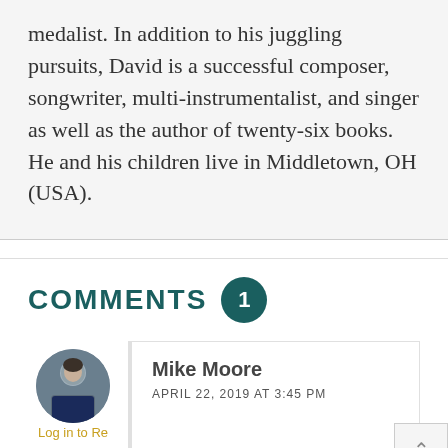medalist. In addition to his juggling pursuits, David is a successful composer, songwriter, multi-instrumentalist, and singer as well as the author of twenty-six books. He and his children live in Middletown, OH (USA).
COMMENTS 1
Mike Moore
APRIL 22, 2019 AT 3:45 PM
Log in to Re